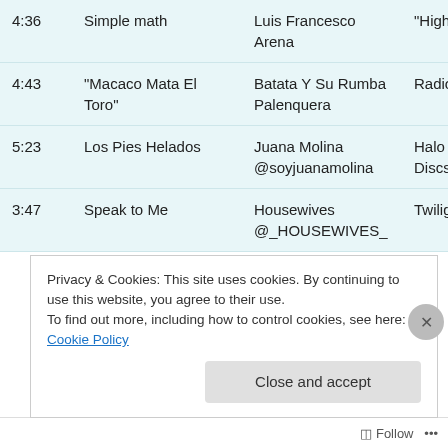| Time | Title | Artist | Album |
| --- | --- | --- | --- |
| 4:36 | Simple math | Luis Francesco
Arena | “High… |
| 4:43 | “Macaco Mata El Toro” | Batata Y Su Rumba Palenquera | Radio… |
| 5:23 | Los Pies Helados | Juana Molina
@soyjuanamolina | Halo (
Discs… |
| 3:47 | Speak to Me | Housewives
@_HOUSEWIVES_ | Twilig… |
Privacy & Cookies: This site uses cookies. By continuing to use this website, you agree to their use.
To find out more, including how to control cookies, see here: Cookie Policy
Follow